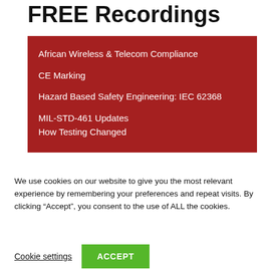FREE Recordings
African Wireless & Telecom Compliance
CE Marking
Hazard Based Safety Engineering: IEC 62368
MIL-STD-461 Updates
How Testing Changed
We use cookies on our website to give you the most relevant experience by remembering your preferences and repeat visits. By clicking “Accept”, you consent to the use of ALL the cookies.
Cookie settings
ACCEPT